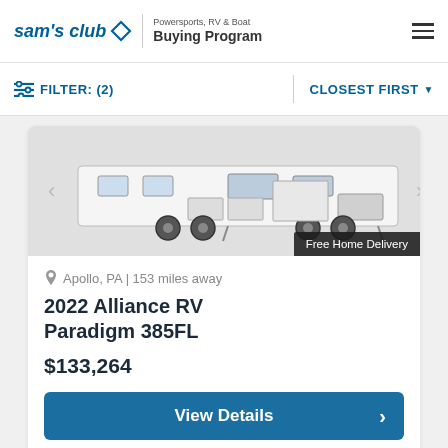sam's club ◇ | Powersports, RV & Boat Buying Program
FILTER: (2) | CLOSEST FIRST
[Figure (photo): Partial view of a 2022 Alliance RV Paradigm 385FL fifth-wheel trailer with 'Free Home Delivery' badge overlay]
Apollo, PA | 153 miles away
2022 Alliance RV Paradigm 385FL
$133,264
View Details ›